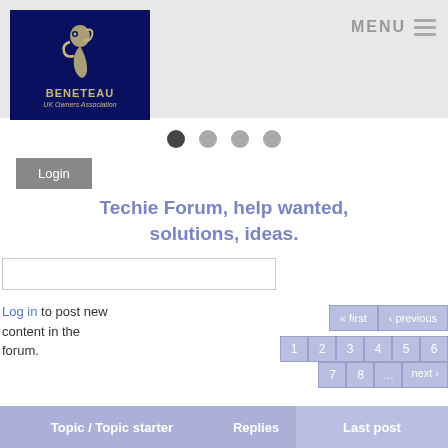[Figure (logo): Beneteau UK Owners Association logo: dark navy background with seahorse emblem in beige/gold, text BENETEAU UK Owners Association]
MENU ☰
[Figure (other): Slider navigation dots: one dark dot (active) and three grey dots]
Login
Techie Forum, help wanted, solutions, ideas.
Log in to post new content in the forum.
« first  ‹ previous
1 2 3 4 5 6
7 8 … next ›
| Topic / Topic starter | Replies | Last post |
| --- | --- | --- |